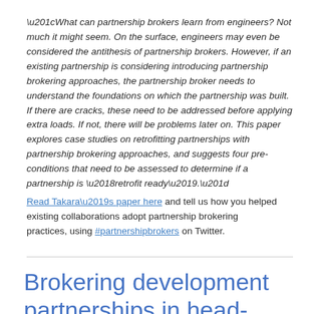“What can partnership brokers learn from engineers? Not much it might seem. On the surface, engineers may even be considered the antithesis of partnership brokers. However, if an existing partnership is considering introducing partnership brokering approaches, the partnership broker needs to understand the foundations on which the partnership was built. If there are cracks, these need to be addressed before applying extra loads. If not, there will be problems later on. This paper explores case studies on retrofitting partnerships with partnership brokering approaches, and suggests four pre-conditions that need to be assessed to determine if a partnership is ‘retrofit ready’.”
Read Takara’s paper here and tell us how you helped existing collaborations adopt partnership brokering practices, using #partnershipbrokers on Twitter.
Brokering development partnerships in head-